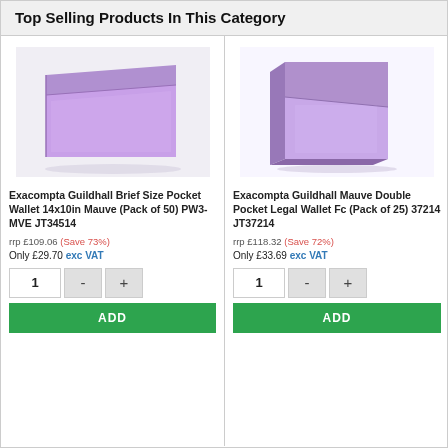Top Selling Products In This Category
[Figure (photo): Exacompta Guildhall Brief Size Pocket Wallet in mauve purple color, folded stack view]
Exacompta Guildhall Brief Size Pocket Wallet 14x10in Mauve (Pack of 50) PW3-MVE JT34514
rrp £109.06 (Save 73%)
Only £29.70 exc VAT
[Figure (photo): Exacompta Guildhall Mauve Double Pocket Legal Wallet Fc, standing upright purple folder]
Exacompta Guildhall Mauve Double Pocket Legal Wallet Fc (Pack of 25) 37214 JT37214
rrp £118.32 (Save 72%)
Only £33.69 exc VAT